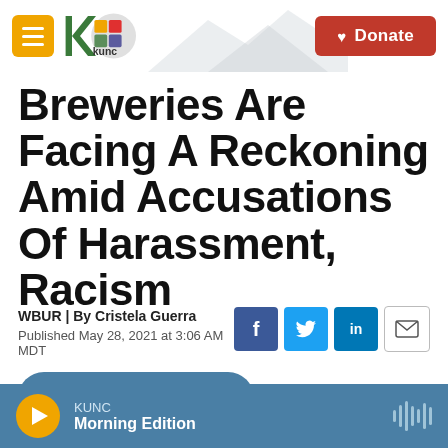KUNC | Donate
Breweries Are Facing A Reckoning Amid Accusations Of Harassment, Racism
WBUR | By Cristela Guerra
Published May 28, 2021 at 3:06 AM MDT
LISTEN • 3:12
KUNC Morning Edition